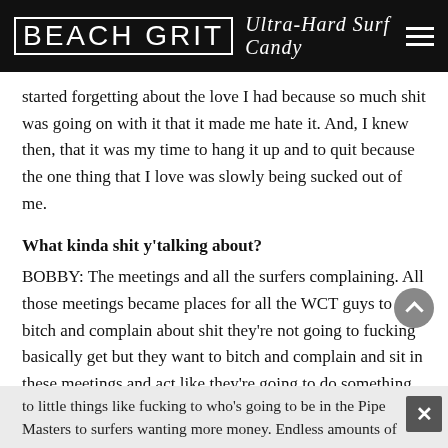BEACH GRIT Ultra-Hard Surf Candy
started forgetting about the love I had because so much shit was going on with it that it made me hate it. And, I knew then, that it was my time to hang it up and to quit because the one thing that I love was slowly being sucked out of me.
What kinda shit y'talking about?
BOBBY: The meetings and all the surfers complaining. All those meetings became places for all the WCT guys to bitch and complain about shit they're not going to fucking basically get but they want to bitch and complain and sit in these meetings and act like they're going to do something. And, they never put their foot down. From scaffolding setups to little things like fucking to who's going to be in the Pipe Masters to surfers wanting more money. Endless amounts of